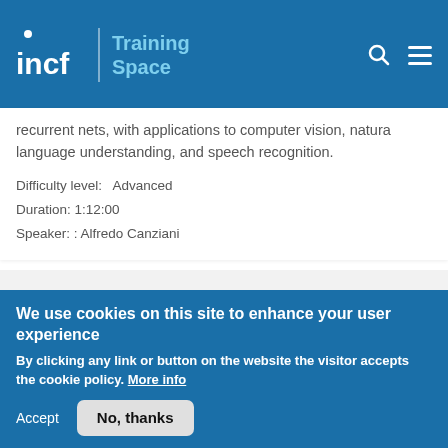incf | Training Space
recurrent nets, with applications to computer vision, natural language understanding, and speech recognition.
Difficulty level:   Advanced
Duration: 1:12:00
Speaker: : Alfredo Canziani
Speech recognition and graph transformer nets
We use cookies on this site to enhance your user experience
By clicking any link or button on the website the visitor accepts the cookie policy. More info
Accept   No, thanks